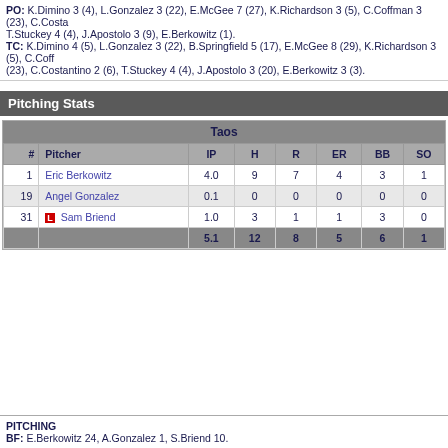PO: K.Dimino 3 (4), L.Gonzalez 3 (22), E.McGee 7 (27), K.Richardson 3 (5), C.Coffman 3 (23), C.Costantino T.Stuckey 4 (4), J.Apostolo 3 (9), E.Berkowitz (1). TC: K.Dimino 4 (5), L.Gonzalez 3 (22), B.Springfield 5 (17), E.McGee 8 (29), K.Richardson 3 (5), C.Coffm (23), C.Costantino 2 (6), T.Stuckey 4 (4), J.Apostolo 3 (20), E.Berkowitz 3 (3).
Pitching Stats
| # | Pitcher | IP | H | R | ER | BB | SO |
| --- | --- | --- | --- | --- | --- | --- | --- |
| 1 | Eric Berkowitz | 4.0 | 9 | 7 | 4 | 3 | 1 |
| 19 | Angel Gonzalez | 0.1 | 0 | 0 | 0 | 0 | 0 |
| 31 | [L] Sam Briend | 1.0 | 3 | 1 | 1 | 3 | 0 |
|  |  | 5.1 | 12 | 8 | 5 | 6 | 1 |
PITCHING
BF: E.Berkowitz 24, A.Gonzalez 1, S.Briend 10.